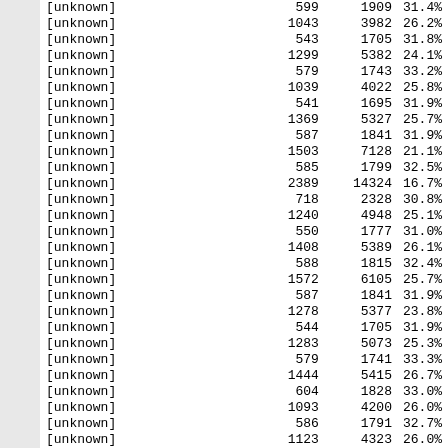| Name | Col1 | Col2 | Col3 |
| --- | --- | --- | --- |
| [unknown] | 599 | 1909 | 31.4% |
| [unknown] | 1043 | 3982 | 26.2% |
| [unknown] | 543 | 1705 | 31.8% |
| [unknown] | 1299 | 5382 | 24.1% |
| [unknown] | 579 | 1743 | 33.2% |
| [unknown] | 1039 | 4022 | 25.8% |
| [unknown] | 541 | 1695 | 31.9% |
| [unknown] | 1369 | 5327 | 25.7% |
| [unknown] | 587 | 1841 | 31.9% |
| [unknown] | 1503 | 7128 | 21.1% |
| [unknown] | 585 | 1799 | 32.5% |
| [unknown] | 2389 | 14324 | 16.7% |
| [unknown] | 718 | 2328 | 30.8% |
| [unknown] | 1240 | 4948 | 25.1% |
| [unknown] | 550 | 1777 | 31.0% |
| [unknown] | 1408 | 5389 | 26.1% |
| [unknown] | 588 | 1815 | 32.4% |
| [unknown] | 1572 | 6105 | 25.7% |
| [unknown] | 587 | 1841 | 31.9% |
| [unknown] | 1278 | 5377 | 23.8% |
| [unknown] | 544 | 1705 | 31.9% |
| [unknown] | 1283 | 5073 | 25.3% |
| [unknown] | 579 | 1741 | 33.3% |
| [unknown] | 1444 | 5415 | 26.7% |
| [unknown] | 604 | 1828 | 33.0% |
| [unknown] | 1093 | 4200 | 26.0% |
| [unknown] | 586 | 1791 | 32.7% |
| [unknown] | 1123 | 4323 | 26.0% |
| [unknown] | 544 | 1705 | 31.9% |
| [unknown] | 1186 | 4531 | 26.2% |